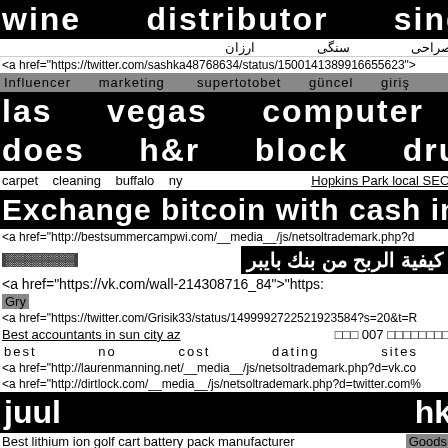wine distributor singapore
صراحی سنگی ارزان
<a href="https://twitter.com/sashka48768634/status/1500141389916655623">
Influencer marketing supertotobet güncel giris
las vegas computer repair
does h&r block drug test
carpet cleaning buffalo ny    Hopkins Park local SEO
Exchange bitcoin with cash in dubai
<a href="http://bestsummercampwi.com/__media__/js/netsoltrademark.php?d
كيفية الربح من بنك بايبر   ░░░░░░░░
<a href="https://vk.com/wall-214308716_84">"https:
Gry
<a href="https://twitter.com/Grisik33/status/1499992722521923584?s=20&t=R
Best accountants in sun city az   □□□ 007 □□□□□□□□
best no cost dating sites
<a href="http://laurenmanning.net/__media__/js/netsoltrademark.php?d=vk.co
<a href="http://dirtlock.com/__media__/js/netsoltrademark.php?d=twitter.com%
juul hk
Best lithium ion golf cart battery pack manufacturer   Goods
خرید بلیط چارتری ازمیر    miner wholesale
<a href="http://kabukilounge.com/__media__/js/netsoltrademark.php?d=vk.co
<a href="http://ebook.vopen.net/__media__/js/netsoltrademark.php?d=vk.com
דירות   דיסקרטיות    -    סחר    בנשים    בישראל
<a href="https://malteseworld.ru/proble